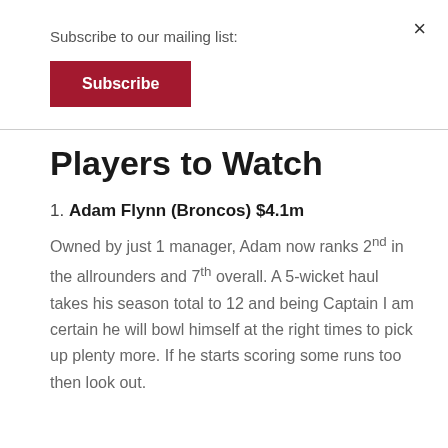Subscribe to our mailing list:
Subscribe
Players to Watch
1. Adam Flynn (Broncos) $4.1m
Owned by just 1 manager, Adam now ranks 2nd in the allrounders and 7th overall. A 5-wicket haul takes his season total to 12 and being Captain I am certain he will bowl himself at the right times to pick up plenty more. If he starts scoring some runs too then look out.